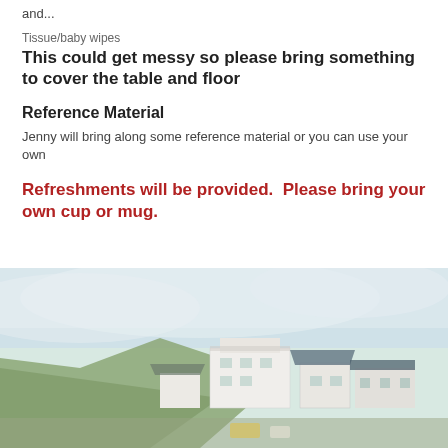and...
Tissue/baby wipes
This could get messy so please bring something to cover the table and floor
Reference Material
Jenny will bring along some reference material or you can use your own
Refreshments will be provided.  Please bring your own cup or mug.
[Figure (photo): Outdoor photo of a coastal village with white buildings on a hillside, green slopes, and a misty sky]